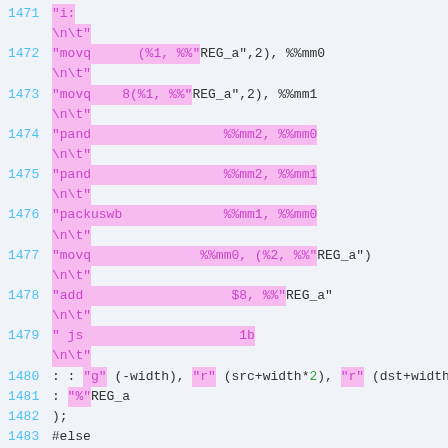Source code listing lines 1471-1485 showing assembly inline code and C code
1471     "i:
\n\t"
1472     "movq      (%1, %%"REG_a",2), %%mm0
\n\t"
1473     "movq    8(%1, %%"REG_a",2), %%mm1
\n\t"
1474     "pand                 %%mm2, %%mm0
\n\t"
1475     "pand                 %%mm2, %%mm1
\n\t"
1476     "packuswb             %%mm1, %%mm0
\n\t"
1477     "movq              %%mm0, (%2, %%"REG_a")
\n\t"
1478     "add                   $8, %%"REG_a"
\n\t"
1479     " js                    1b
\n\t"
1480      : : "g" (-width), "r" (src+width*2), "r" (dst+width)
1481      : "%"REG_a
1482      );
1483 #else
1484      int i;
1485      for (i=0; i<width; i++)